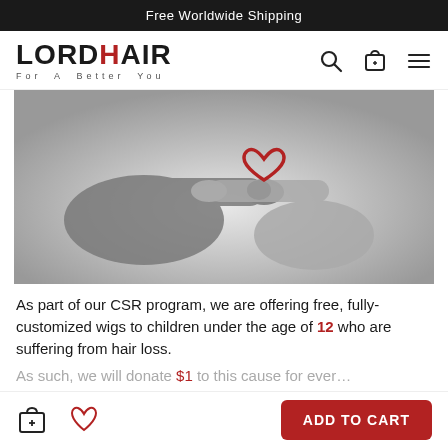Free Worldwide Shipping
[Figure (logo): Lordhair logo with text 'LORDHAIR' and tagline 'For A Better You']
[Figure (photo): Black and white photo of two hands touching fingertips with a red heart symbol between index fingers]
As part of our CSR program, we are offering free, fully-customized wigs to children under the age of 12 who are suffering from hair loss.
As such, we will donate $1 to this cause for ever…